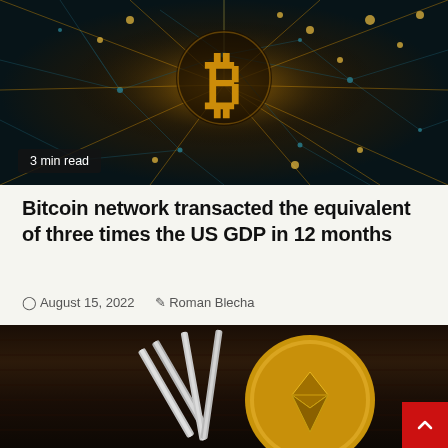[Figure (photo): Dark digital network background with glowing golden Bitcoin symbol (₿) at center, surrounded by interconnected network nodes and lines with golden particle effects]
3 min read
Bitcoin network transacted the equivalent of three times the US GDP in 12 months
August 15, 2022   Roman Blecha
[Figure (photo): Close-up photo of metallic tweezers or scissors resting on a gold Ethereum coin on a dark wooden surface. Red scroll-to-top button with upward chevron in bottom right corner.]